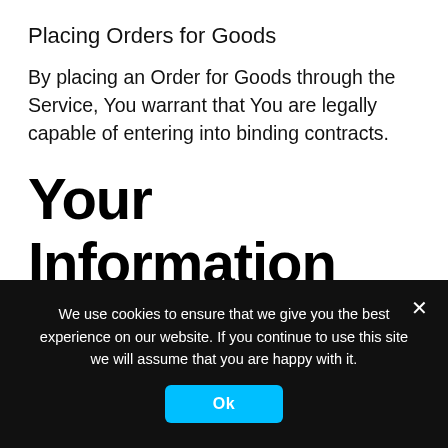Placing Orders for Goods
By placing an Order for Goods through the Service, You warrant that You are legally capable of entering into binding contracts.
Your Information
If You wish to place an Order for Goods available on the Service, You may be asked to supply certain information relevant to Your Order including, without limitation, Your name, Your email, Your phone number, Your credit
We use cookies to ensure that we give you the best experience on our website. If you continue to use this site we will assume that you are happy with it.